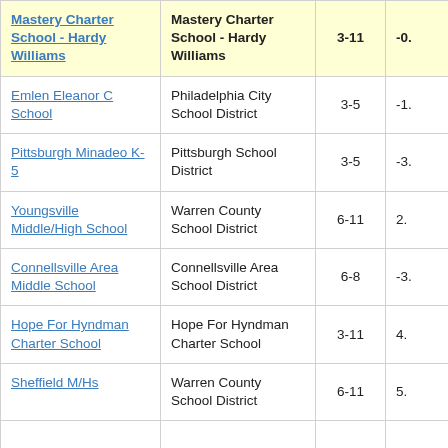| School | District | Grades | Value |
| --- | --- | --- | --- |
| Mastery Charter School - Hardy Williams | Mastery Charter School - Hardy Williams | 3-11 | -0. |
| Emlen Eleanor C School | Philadelphia City School District | 3-5 | -1. |
| Pittsburgh Minadeo K-5 | Pittsburgh School District | 3-5 | -3. |
| Youngsville Middle/High School | Warren County School District | 6-11 | 2. |
| Connellsville Area Middle School | Connellsville Area School District | 6-8 | -3. |
| Hope For Hyndman Charter School | Hope For Hyndman Charter School | 3-11 | 4. |
| Sheffield M/Hs | Warren County School District | 6-11 | 5. |
| (partial row) | (partial) |  |  |